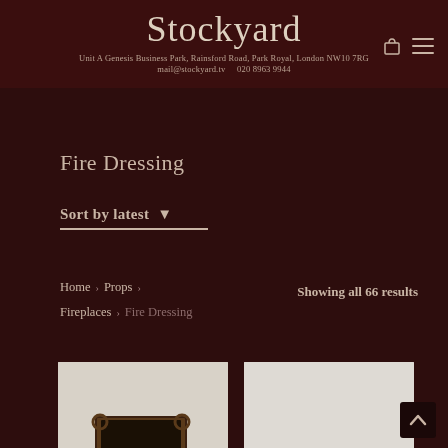Stockyard
Unit A Genesis Business Park, Rainsford Road, Park Royal, London NW10 7RG
mail@stockyard.tv   020 8963 9944
Fire Dressing
Sort by latest ▼
Showing all 66 results
Home > Props > Fireplaces > Fire Dressing
[Figure (photo): Left product card showing a dark rectangular fire basket/coal scuttle on white background]
[Figure (photo): Right product card showing partial white/grey background, product not fully visible]